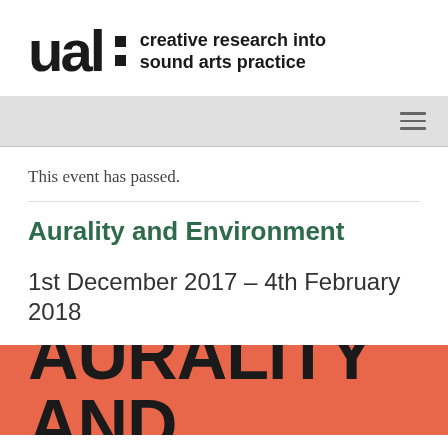ual: creative research into sound arts practice
This event has passed.
Aurality and Environment
1st December 2017 – 4th February 2018
[Figure (illustration): Salmon/coral colored banner with large bold black text reading 'AURALITY AND' — partial view of event promotional image]